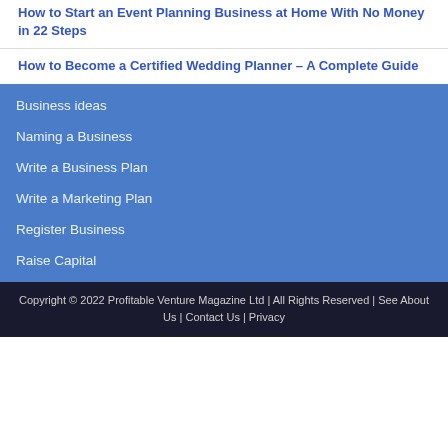How to Start an Event Planning Business at Home With No Money in 22 Steps
How to Become a Certified Wedding Planner – A Complete Guide
Business ideas
Naming a Business
Write a Business Plan
Write a Marketing Plan
Register Business
Raise Capital
Copyright © 2022 Profitable Venture Magazine Ltd | All Rights Reserved | See About Us | Contact Us | Privacy